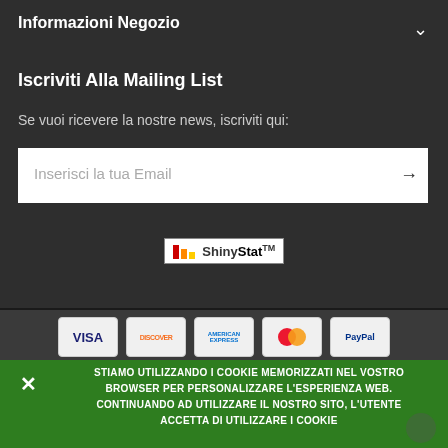Informazioni Negozio
Iscriviti Alla Mailing List
Se vuoi ricevere la nostre news, iscriviti qui:
Inserisci la tua Email
[Figure (logo): ShinyStatTM analytics badge with colored bar chart icon]
[Figure (infographic): Payment method icons: VISA, DISCOVER, AMERICAN EXPRESS, Mastercard, PayPal]
STIAMO UTILIZZANDO I COOKIE MEMORIZZATI NEL VOSTRO BROWSER PER PERSONALIZZARE L'ESPERIENZA WEB. CONTINUANDO AD UTILIZZARE IL NOSTRO SITO, L'UTENTE ACCETTA DI UTILIZZARE I COOKIE